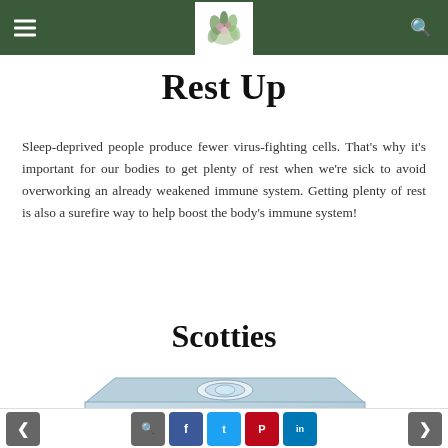Rest Up — navigation header with hamburger menu, floral logo, and search icon
Rest Up
Sleep-deprived people produce fewer virus-fighting cells. That's why it's important for our bodies to get plenty of rest when we're sick to avoid overworking an already weakened immune system. Getting plenty of rest is also a surefire way to help boost the body's immune system!
Scotties
[Figure (photo): Scotties tissue box product photo — light blue/grey decorative box with circular label on top]
Navigation: previous arrow, search, Facebook, Twitter, Pinterest, LinkedIn, next arrow